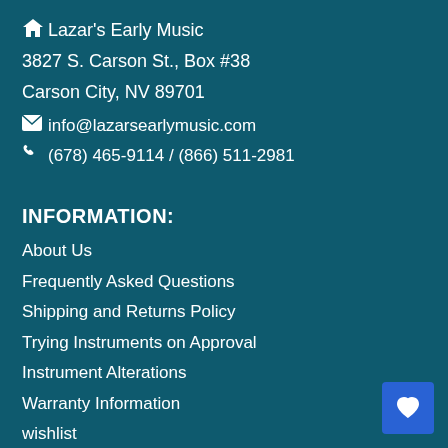🏠 Lazar's Early Music
3827 S. Carson St., Box #38
Carson City, NV 89701
✉ info@lazarsearlymusic.com
☎ (678) 465-9114 / (866) 511-2981
INFORMATION:
About Us
Frequently Asked Questions
Shipping and Returns Policy
Trying Instruments on Approval
Instrument Alterations
Warranty Information
wishlist